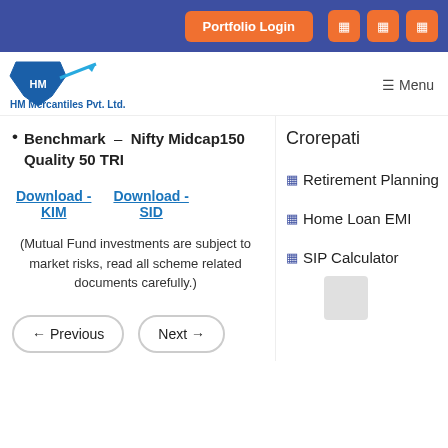Portfolio Login [icon] [icon] [icon]
[Figure (logo): HM Mercantiles Pvt. Ltd. logo with blue shield and arrow, tagline: Investing Simplified]
☰ Menu
Benchmark – Nifty Midcap150 Quality 50 TRI
Download - KIM   Download - SID
(Mutual Fund investments are subject to market risks, read all scheme related documents carefully.)
← Previous   Next →
Crorepati
☰ Retirement Planning
☰ Home Loan EMI
☰ SIP Calculator